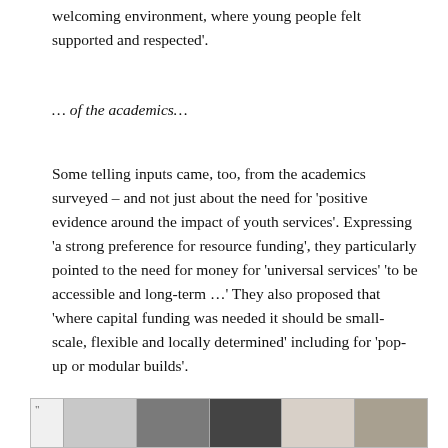welcoming environment, where young people felt supported and respected'.
… of the academics…
Some telling inputs came, too, from the academics surveyed – and not just about the need for 'positive evidence around the impact of youth services'. Expressing 'a strong preference for resource funding', they particularly pointed to the need for money for 'universal services' 'to be accessible and long-term …' They also proposed that 'where capital funding was needed it should be small-scale, flexible and locally determined' including for 'pop-up or modular builds'.
[Figure (photo): A strip of photographs at the bottom of the page showing people in various settings, partially visible.]